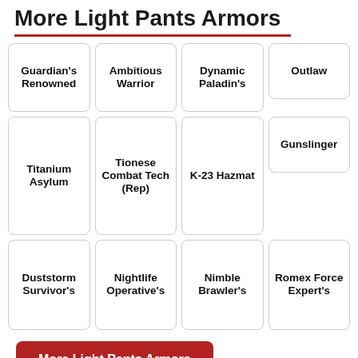More Light Pants Armors
Guardian's Renowned
Ambitious Warrior
Dynamic Paladin's
Outlaw
Titanium Asylum
Tionese Combat Tech (Rep)
K-23 Hazmat
Gunslinger
Duststorm Survivor's
Nightlife Operative's
Nimble Brawler's
Romex Force Expert's
More Light Pants Armors